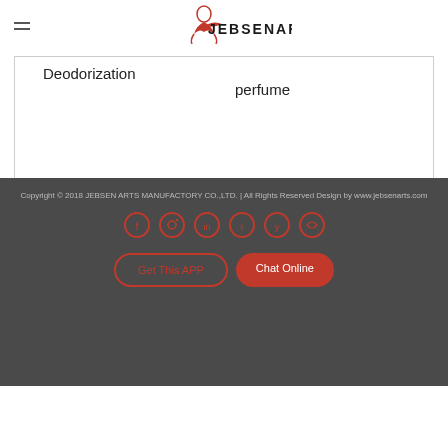JEBSENARTS logo with menu icon
Deodorization
perfume
Copyright © 2018 JEBSEN ARTS MANUFACTORY CO.,LTD. | All Rights Reserved Design by www.jebsenarts.com
[Figure (logo): Six social media circle icons with red border]
Get This APP
Chat Online